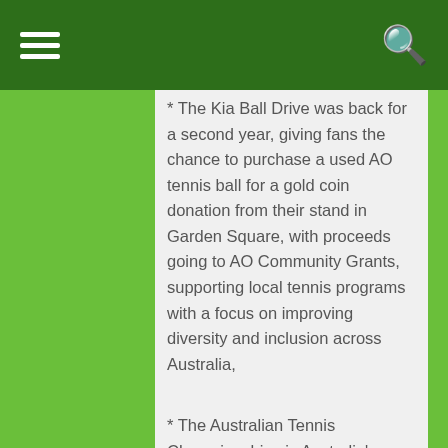* The Kia Ball Drive was back for a second year, giving fans the chance to purchase a used AO tennis ball for a gold coin donation from their stand in Garden Square, with proceeds going to AO Community Grants, supporting local tennis programs with a focus on improving diversity and inclusion across Australia,
* The Australian Tennis Championships is Australia's largest annual event for people with an intellectual impairment, with the finals and presentations staged at Melbourne Park on Australian Open finals weekend.
* There were 5,127 Practice Desk bookings,